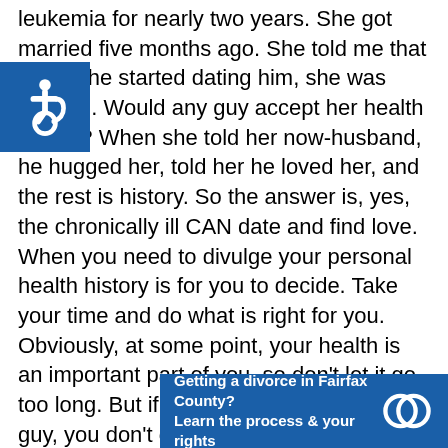leukemia for nearly two years. She got married five months ago. She told me that when she started dating him, she was terrified. Would any guy accept her health issues? When she told her now-husband, he hugged her, told her he loved her, and the rest is history. So the answer is, yes, the chronically ill CAN date and find love. When you need to divulge your personal health history is for you to decide. Take your time and do what is right for you. Obviously, at some point, your health is an important part of you, so don't let it go too long. But if you're casually dating a guy, you don't owe anyone anything. And, besides, when you do share this information with a guy, if he vanishes, it isn't meant to be. Make sure you are open, honest, and you explain in detail what your illness means to your daily life. How often are you at doctor appointments, how expensive are your out-of-pocket
[Figure (other): Accessibility icon - wheelchair symbol in white on blue square background]
[Figure (other): Advertisement banner: 'Getting a divorce in Fairfax County? Learn the process & your rights' with interlocked rings icon, blue background]